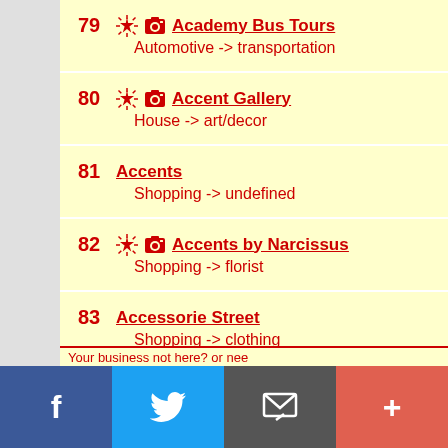79 Academy Bus Tours - Automotive -> transportation
80 Accent Gallery - House -> art/decor
81 Accents - Shopping -> undefined
82 Accents by Narcissus - Shopping -> florist
83 Accessorie Street - Shopping -> clothing
84 ACCU Staffing Services - Services -> undefined
Your business not here? or nee...